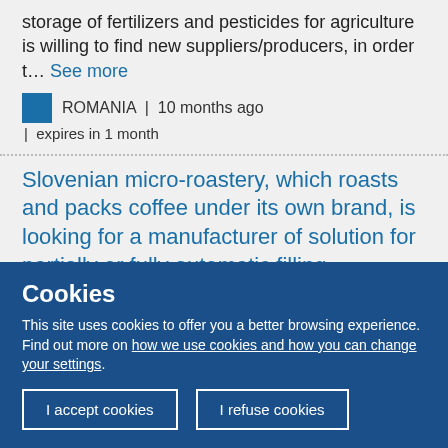storage of fertilizers and pesticides for agriculture is willing to find new suppliers/producers, in order t… See more
ROMANIA | 10 months ago | expires in 1 month
Slovenian micro-roastery, which roasts and packs coffee under its own brand, is looking for a manufacturer of solution for partially or fully automatic filling
Cookies
This site uses cookies to offer you a better browsing experience. Find out more on how we use cookies and how you can change your settings.
I accept cookies | I refuse cookies